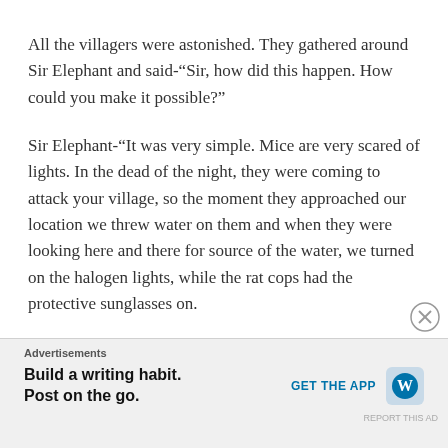All the villagers were astonished. They gathered around Sir Elephant and said-“Sir, how did this happen. How could you make it possible?”
Sir Elephant-“It was very simple. Mice are very scared of lights. In the dead of the night, they were coming to attack your village, so the moment they approached our location we threw water on them and when they were looking here and there for source of the water, we turned on the halogen lights, while the rat cops had the protective sunglasses on.
Advertisements
Build a writing habit. Post on the go. GET THE APP